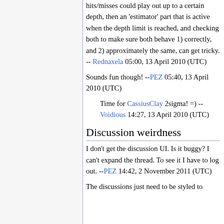hits/misses could play out up to a certain depth, then an 'estimator' part that is active when the depth limit is reached, and checking both to make sure both behave 1) correctly, and 2) approximately the same, can get tricky. -- Rednaxela 05:00, 13 April 2010 (UTC)
Sounds fun though! --PEZ 05:40, 13 April 2010 (UTC)
Time for CassiusClay 2sigma! =) -- Voidious 14:27, 13 April 2010 (UTC)
Discussion weirdness
I don't get the discussion UI. Is it buggy? I can't expand the thread. To see it I have to log out. --PEZ 14:42, 2 November 2011 (UTC)
The discussions just need to be styled to